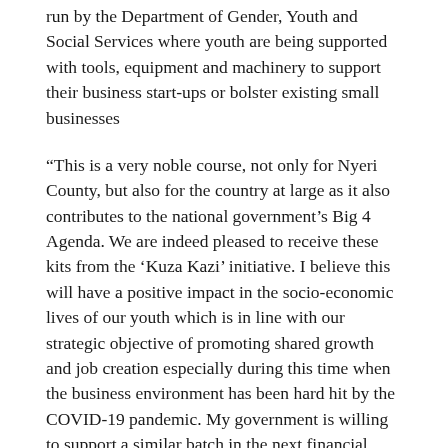run by the Department of Gender, Youth and Social Services where youth are being supported with tools, equipment and machinery to support their business start-ups or bolster existing small businesses
“This is a very noble course, not only for Nyeri County, but also for the country at large as it also contributes to the national government’s Big 4 Agenda. We are indeed pleased to receive these kits from the ‘Kuza Kazi’ initiative. I believe this will have a positive impact in the socio-economic lives of our youth which is in line with our strategic objective of promoting shared growth and job creation especially during this time when the business environment has been hard hit by the COVID-19 pandemic. My government is willing to support a similar batch in the next financial year to expand this program even further,” said Governor Kahiga.
According to the Nyeri County Government Integrated